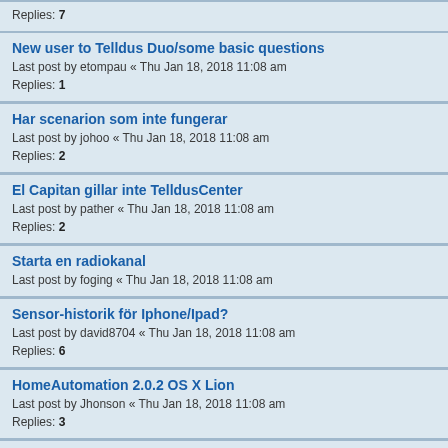Replies: 7
New user to Telldus Duo/some basic questions
Last post by etompau « Thu Jan 18, 2018 11:08 am
Replies: 1
Har scenarion som inte fungerar
Last post by johoo « Thu Jan 18, 2018 11:08 am
Replies: 2
El Capitan gillar inte TelldusCenter
Last post by pather « Thu Jan 18, 2018 11:08 am
Replies: 2
Starta en radiokanal
Last post by foging « Thu Jan 18, 2018 11:08 am
Sensor-historik för Iphone/Ipad?
Last post by david8704 « Thu Jan 18, 2018 11:08 am
Replies: 6
HomeAutomation 2.0.2 OS X Lion
Last post by Jhonson « Thu Jan 18, 2018 11:08 am
Replies: 3
ML + TELLSTICK - Installationen Misslyckades
Last post by BlueMoon « Thu Jan 18, 2018 11:08 am
Replies: 2
Tellstick + Harmony + Mac
Last post by bonq « Thu Jan 18, 2018 11:08 am
iOS 8.0
Last post by etompau « Thu Jan 18, 2018 11:08 am
Replies: 1